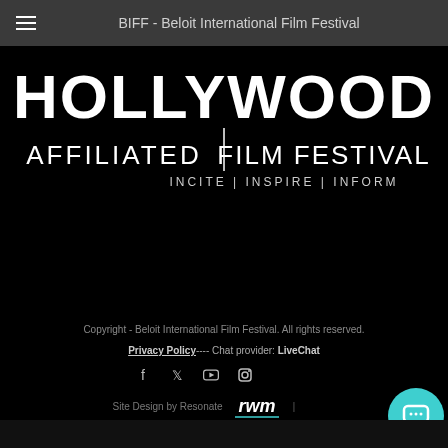BIFF - Beloit International Film Festival
[Figure (logo): Hollywood Affiliated Film Festival logo — white text on black background. Large bold 'HOLLYWOOD' on top, then 'AFFILIATED | FILM FESTIVAL' below, then 'INCITE | INSPIRE | INFORM' tagline in smaller letters.]
Copyright - Beloit International Film Festival. All rights reserved. Privacy Policy ---- Chat provider: LiveChat Site Design by Resonate